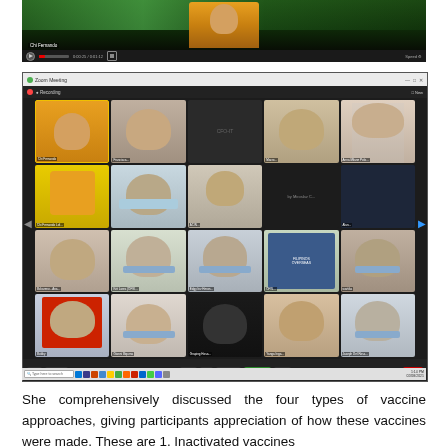[Figure (screenshot): Video player screenshot showing a person in a yellow outfit against a forest/aurora background, with video controls at the bottom]
[Figure (screenshot): Zoom meeting screenshot showing a grid of approximately 20 participants in individual video tiles, with Zoom meeting controls at the bottom and taskbar visible]
She comprehensively discussed the four types of vaccine approaches, giving participants appreciation of how these vaccines were made. These are 1. Inactivated vaccines